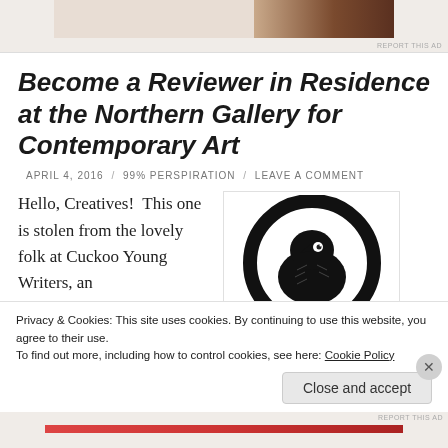[Figure (photo): Partial ad banner at top of page with warm-toned photo]
Become a Reviewer in Residence at the Northern Gallery for Contemporary Art
APRIL 4, 2016 / 99% PERSPIRATION / LEAVE A COMMENT
Hello, Creatives! This one is stolen from the lovely folk at Cuckoo Young Writers, an
[Figure (illustration): Black and white illustration of a raven/crow head inside a circular ring, logo style]
Privacy & Cookies: This site uses cookies. By continuing to use this website, you agree to their use. To find out more, including how to control cookies, see here: Cookie Policy
Close and accept